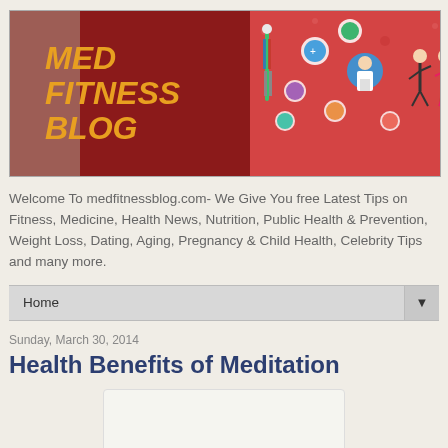[Figure (illustration): Med Fitness Blog banner header with logo text, human body diagram, doctor illustration, and fitness figures on red background]
Welcome To medfitnessblog.com- We Give You free Latest Tips on Fitness, Medicine, Health News, Nutrition, Public Health & Prevention, Weight Loss, Dating, Aging, Pregnancy & Child Health, Celebrity Tips and many more.
Home ▼
Sunday, March 30, 2014
Health Benefits of Meditation
[Figure (photo): Image placeholder for Health Benefits of Meditation article]